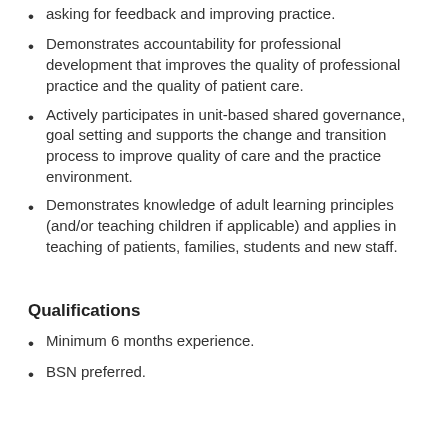asking for feedback and improving practice.
Demonstrates accountability for professional development that improves the quality of professional practice and the quality of patient care.
Actively participates in unit-based shared governance, goal setting and supports the change and transition process to improve quality of care and the practice environment.
Demonstrates knowledge of adult learning principles (and/or teaching children if applicable) and applies in teaching of patients, families, students and new staff.
Qualifications
Minimum 6 months experience.
BSN preferred.